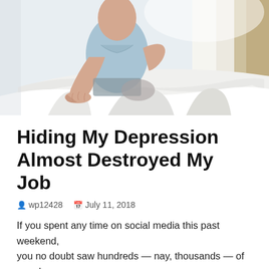[Figure (photo): A person sitting on the edge of a bed with white sheets, pressing one hand against the mattress. The scene is bright and the person is wearing a light blue shirt.]
Hiding My Depression Almost Destroyed My Job
wp12428    July 11, 2018
If you spent any time on social media this past weekend, you no doubt saw hundreds — nay, thousands — of people reflecting on the personal tale of Kate Spade and...